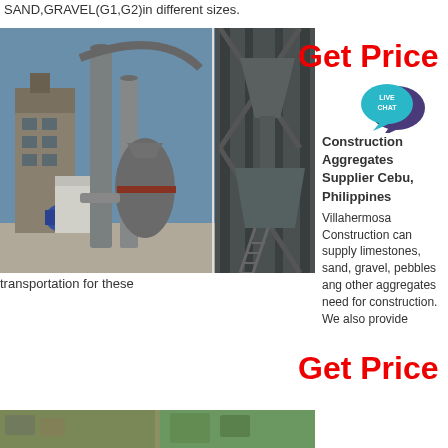SAND,GRAVEL(G1,G2)in different sizes.
[Figure (photo): Industrial quarry machinery / aggregate processing plant with metal silos, conveyor structures, large cylindrical processing units, metal framework, blue sky background]
Get Price
[Figure (other): Live Chat speech bubble icon in teal/cyan color]
Construction Aggregates Supplier Cebu, Philippines
Villahermosa Construction can supply limestones, sand, gravel, pebbles ang other aggregates need for construction. We also provide
transportation for these
Get Price
[Figure (photo): Bottom partial image strip showing outdoor scene]